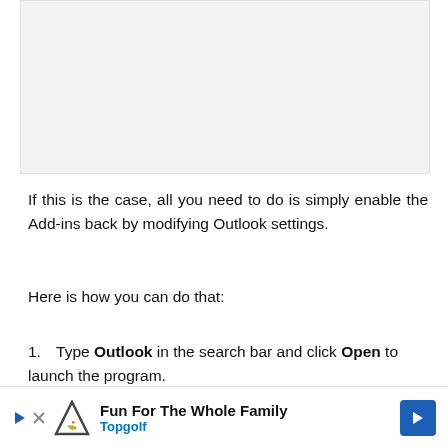[Figure (screenshot): A light gray rectangular placeholder image area at the top of the page]
If this is the case, all you need to do is simply enable the Add-ins back by modifying Outlook settings.
Here is how you can do that:
1. Type Outlook in the search bar and click Open to launch the program.
2.
[Figure (infographic): Advertisement banner: Fun For The Whole Family - Topgolf]